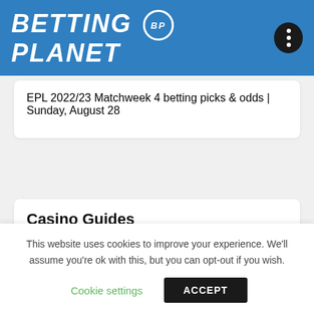BETTING BP PLANET
EPL 2022/23 Matchweek 4 betting picks & odds | Sunday, August 28
Casino Guides
Safest online casino jurisdictions
This website uses cookies to improve your experience. We'll assume you're ok with this, but you can opt-out if you wish.
Cookie settings  ACCEPT